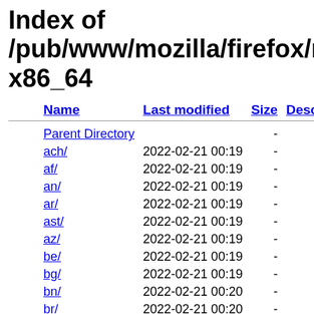Index of /pub/www/mozilla/firefox/releases/... x86_64
| Name | Last modified | Size | Description |
| --- | --- | --- | --- |
| Parent Directory |  | - |  |
| ach/ | 2022-02-21 00:19 | - |  |
| af/ | 2022-02-21 00:19 | - |  |
| an/ | 2022-02-21 00:19 | - |  |
| ar/ | 2022-02-21 00:19 | - |  |
| ast/ | 2022-02-21 00:19 | - |  |
| az/ | 2022-02-21 00:19 | - |  |
| be/ | 2022-02-21 00:19 | - |  |
| bg/ | 2022-02-21 00:19 | - |  |
| bn/ | 2022-02-21 00:20 | - |  |
| br/ | 2022-02-21 00:20 | - |  |
| bs/ | 2022-02-21 00:20 | - |  |